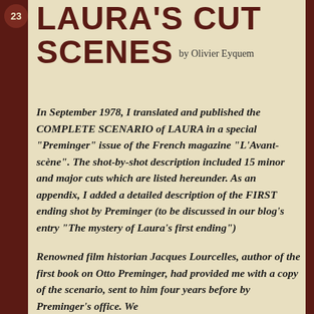23
LAURA'S CUT SCENES  by Olivier Eyquem
In September 1978, I translated and published the COMPLETE SCENARIO of LAURA in a special “Preminger” issue of the French magazine “L’Avant-scène”. The shot-by-shot description included 15 minor and major cuts which are listed hereunder. As an appendix, I added a detailed description of the FIRST ending shot by Preminger (to be discussed in our blog’s entry “The mystery of Laura’s first ending”)
Renowned film historian Jacques Lourcelles, author of the first book on Otto Preminger, had provided me with a copy of the scenario, sent to him four years before by Preminger’s office. We